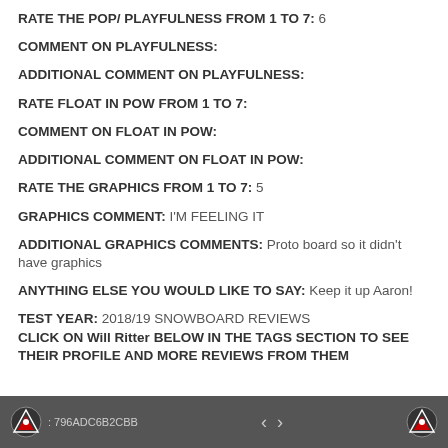RATE THE POP/ PLAYFULNESS FROM 1 TO 7:  6
COMMENT ON PLAYFULNESS:
ADDITIONAL COMMENT ON PLAYFULNESS:
RATE FLOAT IN POW FROM 1 TO 7:
COMMENT ON FLOAT IN POW:
ADDITIONAL COMMENT ON FLOAT IN POW:
RATE THE GRAPHICS FROM 1 TO 7:  5
GRAPHICS COMMENT: I'M FEELING IT
ADDITIONAL GRAPHICS COMMENTS: Proto board so it didn't have graphics
ANYTHING ELSE YOU WOULD LIKE TO SAY: Keep it up Aaron!
TEST YEAR:   2018/19 SNOWBOARD REVIEWS
CLICK ON Will Ritter BELOW IN THE TAGS SECTION TO SEE THEIR PROFILE AND MORE REVIEWS FROM THEM
796ADC6B2CBB